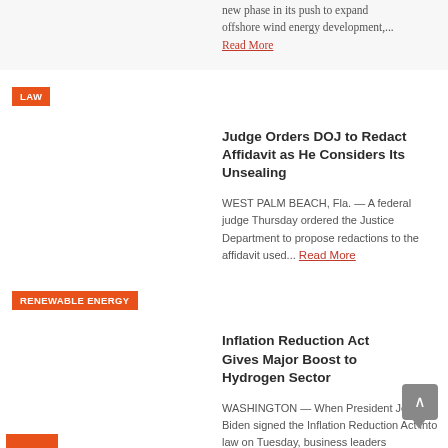new phase in its push to expand offshore wind energy development,... Read More
LAW
Judge Orders DOJ to Redact Affidavit as He Considers Its Unsealing
WEST PALM BEACH, Fla. — A federal judge Thursday ordered the Justice Department to propose redactions to the affidavit used... Read More
RENEWABLE ENERGY
Inflation Reduction Act Gives Major Boost to Hydrogen Sector
WASHINGTON — When President Joe Biden signed the Inflation Reduction Act into law on Tuesday, business leaders throughout the renewable... Read More